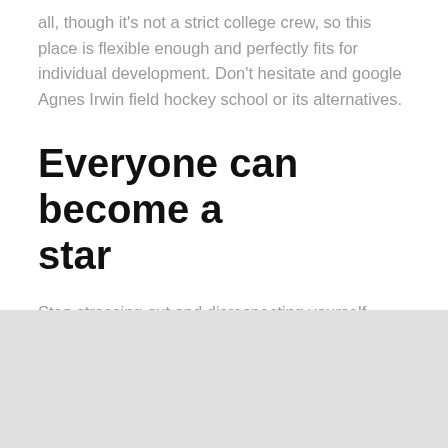all, though it's not a strict college crew, so this place is flexible enough and perfectly fits for individual development. Don't hesitate and google Agnes Irwin field hockey school or its alternatives.
Everyone can become a star
Stop stressing out and disrespecting yourself – remember that to achieve something it's necessary to make efforts.
[Figure (other): Light gray background area at the bottom of the page]